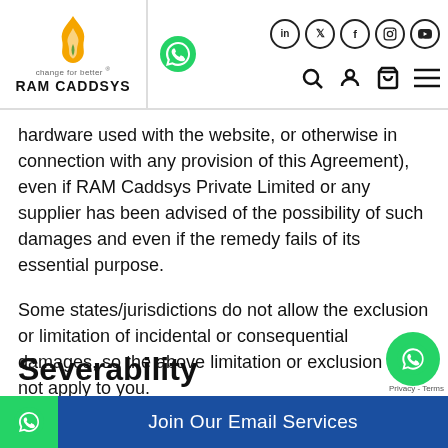[Figure (logo): RAM CADDSYS logo with flame icon and tagline 'change for better']
RAM CADDSYS website header with social icons (LinkedIn, Twitter, Facebook, Instagram, YouTube) and navigation icons (search, account, cart, menu)
hardware used with the website, or otherwise in connection with any provision of this Agreement), even if RAM Caddsys Private Limited or any supplier has been advised of the possibility of such damages and even if the remedy fails of its essential purpose.
Some states/jurisdictions do not allow the exclusion or limitation of incidental or consequential damages, so the above limitation or exclusion may not apply to you.
Severability
Join Our Email Services